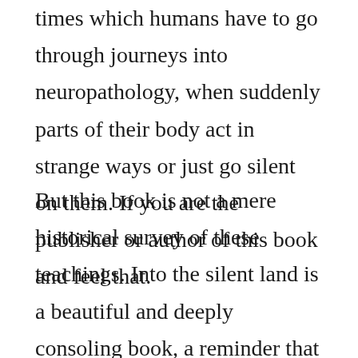times which humans have to go through journeys into neuropathology, when suddenly parts of their body act in strange ways or just go silent on them. If you are the publisher or author of this book and feel that.
But this book is not a mere historical survey of these teachings. Into the silent land is a beautiful and deeply consoling book, a reminder that prayer is both real and fundamentally simple. He examines the meditative methods and traditions found within contemplative prayer. No annoying ads, no download limits, enjoy it and dont